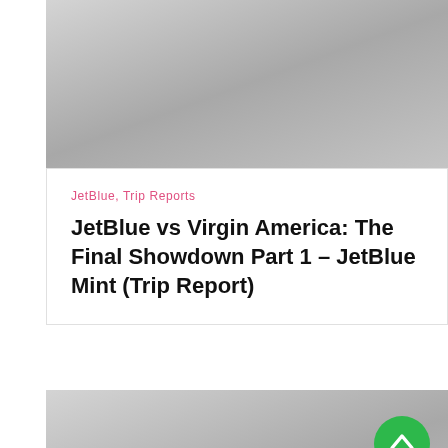[Figure (photo): Gray gradient placeholder image at the top of the page]
JetBlue, Trip Reports
JetBlue vs Virgin America: The Final Showdown Part 1 – JetBlue Mint (Trip Report)
[Figure (photo): Gray gradient placeholder image at the bottom of the page]
[Figure (other): Green circular scroll-to-top button with upward chevron icon]